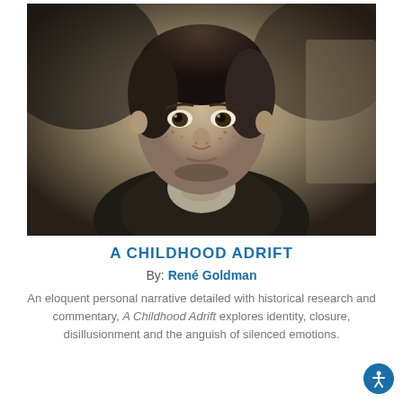[Figure (photo): Vintage black-and-white portrait photograph of a young boy with freckles, dark short hair, wearing a jacket and open-collar shirt, looking directly at the camera with a serious expression.]
A CHILDHOOD ADRIFT
By: René Goldman
An eloquent personal narrative detailed with historical research and commentary, A Childhood Adrift explores identity, closure, disillusionment and the anguish of silenced emotions.